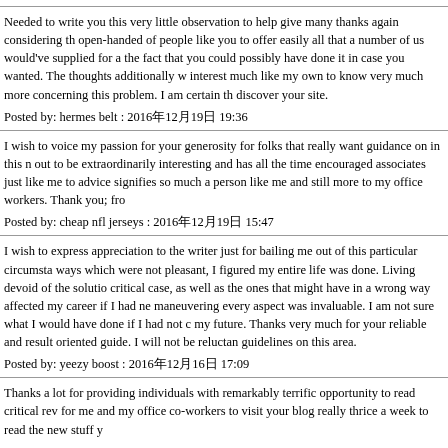Needed to write you this very little observation to help give many thanks again considering the open-handed of people like you to offer easily all that a number of us would've supplied for a the fact that you could possibly have done it in case you wanted. The thoughts additionally w interest much like my own to know very much more concerning this problem. I am certain the discover your site.
Posted by: hermes belt : 2016年12月19日 19:36
I wish to voice my passion for your generosity for folks that really want guidance on in this n out to be extraordinarily interesting and has all the time encouraged associates just like me to advice signifies so much a person like me and still more to my office workers. Thank you; fro
Posted by: cheap nfl jerseys : 2016年12月19日 15:47
I wish to express appreciation to the writer just for bailing me out of this particular circumsta ways which were not pleasant, I figured my entire life was done. Living devoid of the solutio critical case, as well as the ones that might have in a wrong way affected my career if I had ne maneuvering every aspect was invaluable. I am not sure what I would have done if I had not c my future. Thanks very much for your reliable and result oriented guide. I will not be reluctan guidelines on this area.
Posted by: yeezy boost : 2016年12月16日 17:09
Thanks a lot for providing individuals with remarkably terrific opportunity to read critical rev for me and my office co-workers to visit your blog really thrice a week to read the new stuff y